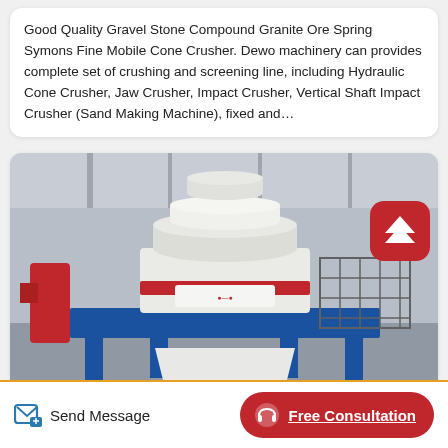Good Quality Gravel Stone Compound Granite Ore Spring Symons Fine Mobile Cone Crusher. Dewo machinery can provides complete set of crushing and screening line, including Hydraulic Cone Crusher, Jaw Crusher, Impact Crusher, Vertical Shaft Impact Crusher (Sand Making Machine), fixed and…
[Figure (photo): Industrial cone crusher machine (white and blue) mounted on a blue steel frame, photographed inside a factory/warehouse setting. A red rounded-square scroll-up button icon overlays the top-right of the image.]
Send Message
Free Consultation